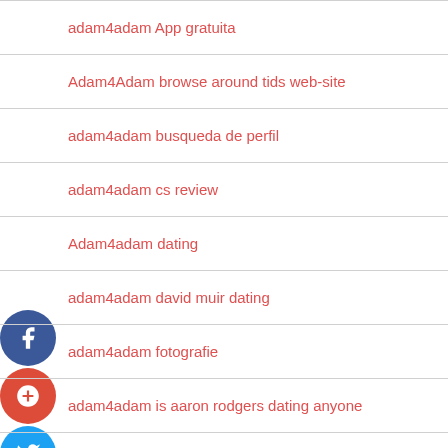adam4adam App gratuita
Adam4Adam browse around tids web-site
adam4adam busqueda de perfil
adam4adam cs review
Adam4adam dating
adam4adam david muir dating
adam4adam fotografie
adam4adam is aaron rodgers dating anyone
adam4adam it review